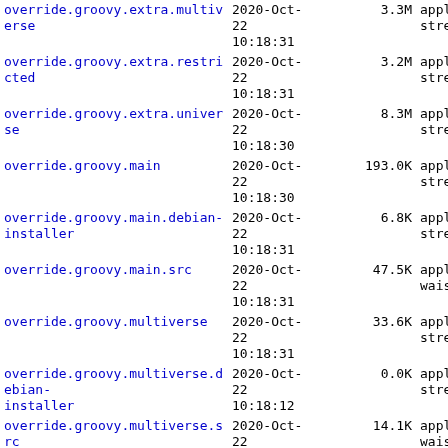| Name | Date | Size | Type |
| --- | --- | --- | --- |
| override.groovy.extra.multiverse | 2020-Oct-22 10:18:31 | 3.3M | appl stre |
| override.groovy.extra.restricted | 2020-Oct-22 10:18:31 | 3.2M | appl stre |
| override.groovy.extra.universe | 2020-Oct-22 10:18:30 | 8.3M | appl stre |
| override.groovy.main | 2020-Oct-22 10:18:30 | 193.0K | appl stre |
| override.groovy.main.debian-installer | 2020-Oct-22 10:18:31 | 6.8K | appl stre |
| override.groovy.main.src | 2020-Oct-22 10:18:31 | 47.5K | appl wais |
| override.groovy.multiverse | 2020-Oct-22 10:18:31 | 33.6K | appl stre |
| override.groovy.multiverse.debian-installer | 2020-Oct-22 10:18:12 | 0.0K | appl stre |
| override.groovy.multiverse.src | 2020-Oct-22 10:18:31 | 14.1K | appl wais |
| override.groovy.restricted | 2020-Oct-22 10:18:31 | 15.2K | appl stre |
| override.groovy.restricted.debian-... | 2020-Oct-... |  |  |